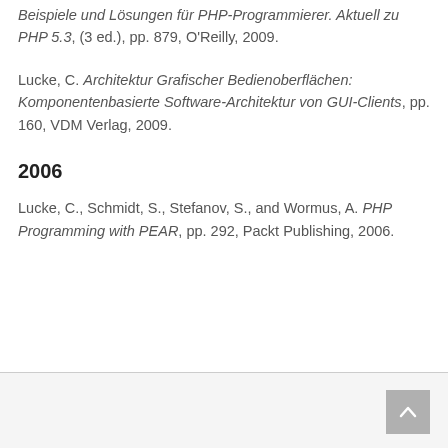Beispiele und Lösungen für PHP-Programmierer. Aktuell zu PHP 5.3, (3 ed.), pp. 879, O'Reilly, 2009.
Lucke, C. Architektur Grafischer Bedienoberflächen: Komponentenbasierte Software-Architektur von GUI-Clients, pp. 160, VDM Verlag, 2009.
2006
Lucke, C., Schmidt, S., Stefanov, S., and Wormus, A. PHP Programming with PEAR, pp. 292, Packt Publishing, 2006.